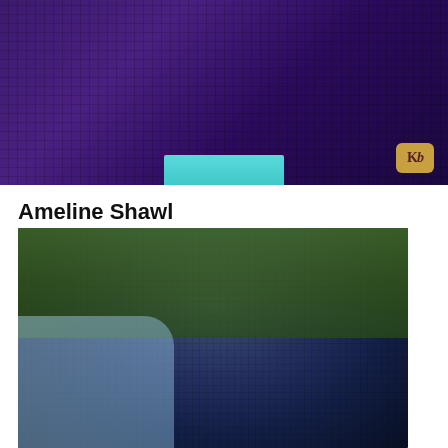[Figure (photo): Close-up photo of a purple/violet textured knitted or woven fabric (shawl) being held up, with a teal/mint garment visible underneath. A 'kb' watermark logo appears in the bottom-right corner of the image.]
Ameline Shawl
September 27, 2014
[Figure (photo): Photo of a person wearing a navy blue knitted slouchy beanie hat, viewed from behind/side. Green grass and a knitting needle are visible in the background. The person is wearing a light blue top.]